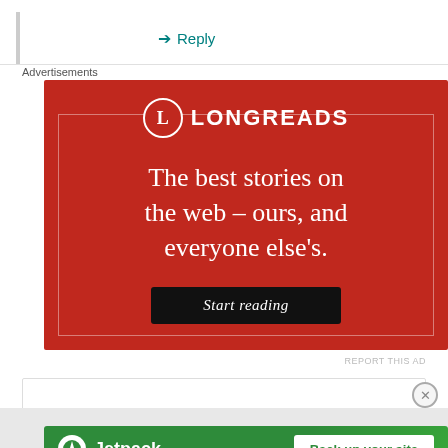↳ Reply
Advertisements
[Figure (illustration): Longreads advertisement banner with red background. Shows 'LONGREADS' logo at top with circled L, then text 'The best stories on the web – ours, and everyone else's.' and a dark 'Start reading' button.]
REPORT THIS AD
Advertisements
[Figure (illustration): Jetpack advertisement banner with green background. Shows Jetpack logo on left and 'Back up your site' button on right.]